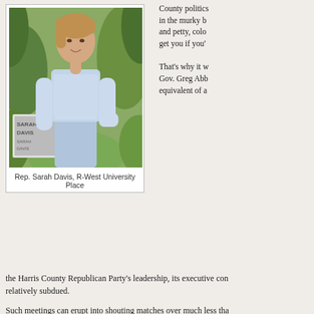[Figure (photo): Photo of Rep. Sarah Davis, a woman standing outdoors in a light blue shirt, with campaign signs reading 'Sarah Davis' visible in the background among green foliage.]
Rep. Sarah Davis, R-West University Place
County politics in the murky b and petty, colo get you if you'
That's why it w Gov. Greg Abb equivalent of a the Harris County Republican Party's leadership, its executive con relatively subdued.
Such meetings can erupt into shouting matches over much less tha himself into what's sure to be a nasty primary race, siding against incumbent who carried her district last year when her party's Whit the same political borders by 15 points to the Democrat.
Prior to Abbott's endorsement of TPPF Fellow and Empower Texa Dokupil, GOP activists in Houston had for the last week internally proposed censure of Rep. Sarah Davis, R-West University Place. T